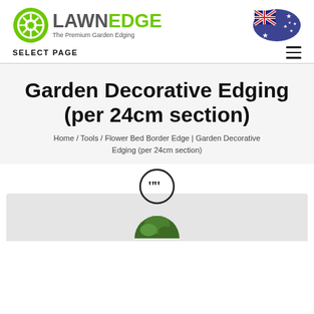[Figure (logo): LawnEdge logo with green circular icon, LAWN in grey and EDGE in green text, tagline 'The Premium Garden Edging', and Australian flag]
SELECT PAGE
Garden Decorative Edging (per 24cm section)
Home / Tools / Flower Bed Border Edge | Garden Decorative Edging (per 24cm section)
[Figure (illustration): Quotation mark icon in a circle, above a partially visible circular testimonial image with green garden content]